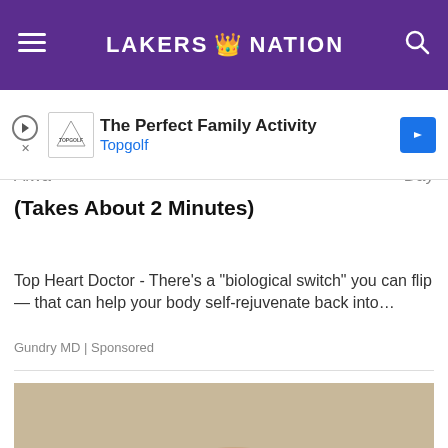LAKERS 👑 NATION
[Figure (screenshot): Advertisement banner for Topgolf - 'The Perfect Family Activity' with Topgolf logo, play/close icons, and blue directional arrow icon]
Alwa... Day
(Takes About 2 Minutes)
Top Heart Doctor - There's a "biological switch" you can flip — that can help your body self-rejuvenate back into...
Gundry MD | Sponsored
[Figure (photo): An older, heavyset man with glasses sitting on a couch with his mouth open, wearing a plaid shirt, holding what appears to be a newspaper or magazine]